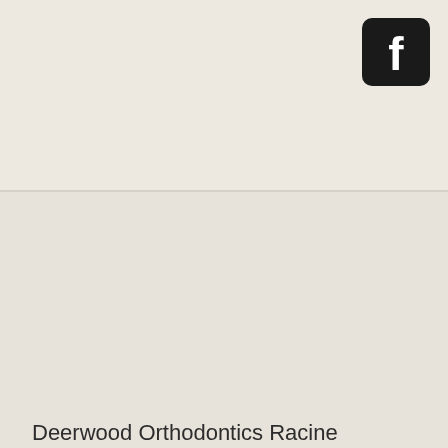[Figure (logo): Facebook logo icon — white 'f' on dark rounded square background]
Deerwood Orthodontics Racine welcomes patients with disabilities. If you need an accommodation to receive orthodontic services, we would be happy to provide one. Please contact us at 262-632-3300 to let us know how we may be of assistance.
Privacy Policy
Patient Care & Safety
COVID-19 FAQ